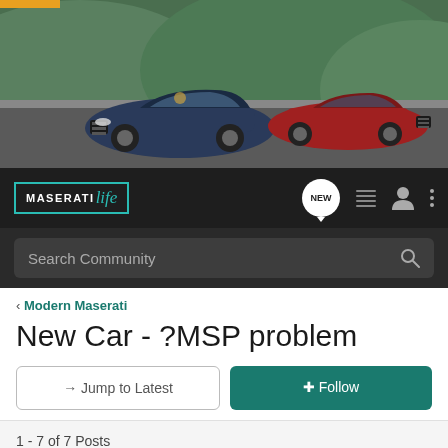[Figure (photo): Banner photo showing two Maserati sports cars driving on a road with green hills in the background. A dark blue convertible is on the left, a red car on the right.]
[Figure (logo): MaseratiLife logo in white and teal, inside a teal border box, on dark background navbar with icons: NEW chat bubble, list icon, person icon, vertical dots menu.]
Search Community
< Modern Maserati
New Car - ?MSP problem
→ Jump to Latest
+ Follow
1 - 7 of 7 Posts
impex4 · Registered
Joined Mar 25, 2006 · 32 Posts